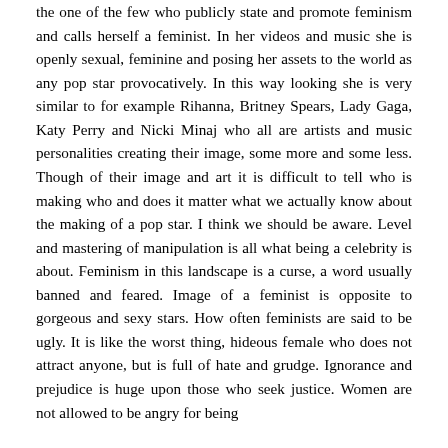the one of the few who publicly state and promote feminism and calls herself a feminist. In her videos and music she is openly sexual, feminine and posing her assets to the world as any pop star provocatively. In this way looking she is very similar to for example Rihanna, Britney Spears, Lady Gaga, Katy Perry and Nicki Minaj who all are artists and music personalities creating their image, some more and some less. Though of their image and art it is difficult to tell who is making who and does it matter what we actually know about the making of a pop star. I think we should be aware. Level and mastering of manipulation is all what being a celebrity is about. Feminism in this landscape is a curse, a word usually banned and feared. Image of a feminist is opposite to gorgeous and sexy stars. How often feminists are said to be ugly. It is like the worst thing, hideous female who does not attract anyone, but is full of hate and grudge. Ignorance and prejudice is huge upon those who seek justice. Women are not allowed to be angry for being